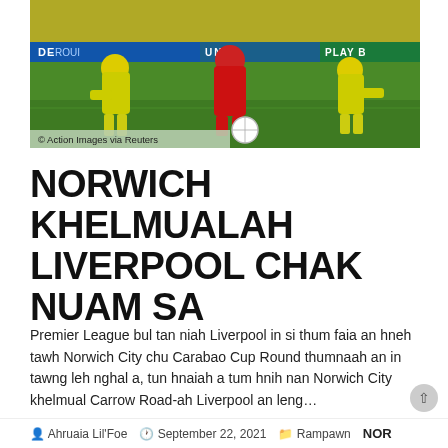[Figure (photo): Football match action photo showing a Liverpool player in red kit competing for the ball with Norwich City players in yellow-green kits on a green pitch, with crowd in background]
© Action Images via Reuters
NORWICH KHELMUALAH LIVERPOOL CHAK NUAM SA
Premier League bul tan niah Liverpool in si thum faia an hneh tawh Norwich City chu Carabao Cup Round thumnaah an in tawng leh nghal a, tun hnaiah a tum hnih nan Norwich City khelmual Carrow Road-ah Liverpool an leng…
Ahruaia Lil'Foe   September 22, 2021   Rampawn   NOR